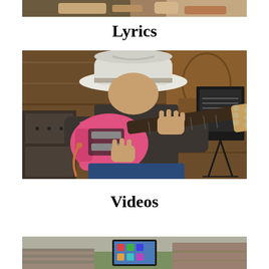[Figure (photo): Partial view of a person playing an instrument, cropped at top of page]
Lyrics
[Figure (photo): Person wearing a white cowboy hat playing a pink electric guitar (Telecaster style) in a wooden-walled studio setting with amplifiers and a music stand visible]
Videos
[Figure (photo): Partial view of an outdoor scene, cropped at bottom of page]